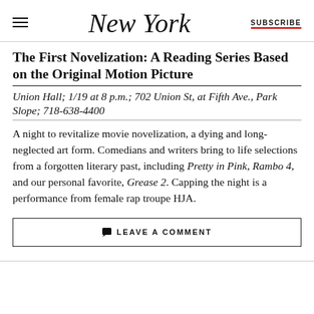New York  SUBSCRIBE
The First Novelization: A Reading Series Based on the Original Motion Picture
Union Hall; 1/19 at 8 p.m.; 702 Union St, at Fifth Ave., Park Slope; 718-638-4400
A night to revitalize movie novelization, a dying and long-neglected art form. Comedians and writers bring to life selections from a forgotten literary past, including Pretty in Pink, Rambo 4, and our personal favorite, Grease 2. Capping the night is a performance from female rap troupe HJA.
LEAVE A COMMENT